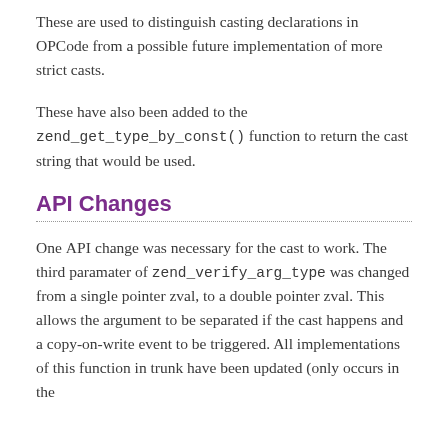These are used to distinguish casting declarations in OPCode from a possible future implementation of more strict casts.
These have also been added to the zend_get_type_by_const() function to return the cast string that would be used.
API Changes
One API change was necessary for the cast to work. The third paramater of zend_verify_arg_type was changed from a single pointer zval, to a double pointer zval. This allows the argument to be separated if the cast happens and a copy-on-write event to be triggered. All implementations of this function in trunk have been updated (only occurs in the